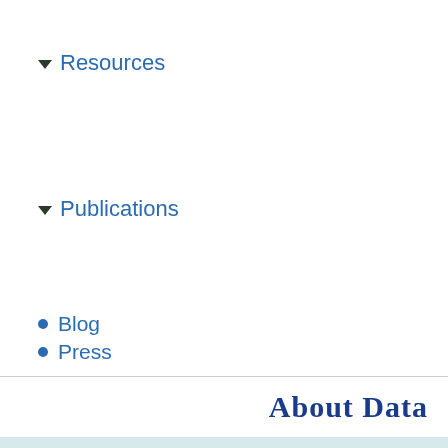Resources
Publications
Blog
Press
About Data
Subscribe to our
Enter email address